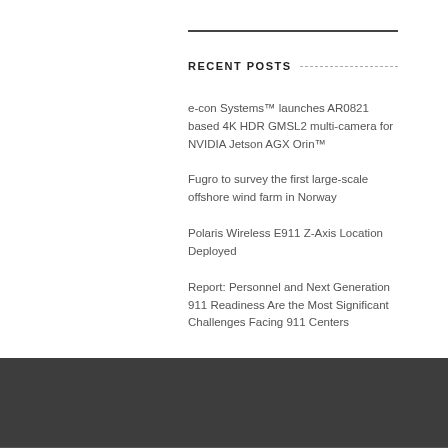RECENT POSTS
e-con Systems™ launches AR0821 based 4K HDR GMSL2 multi-camera for NVIDIA Jetson AGX Orin™
Fugro to survey the first large-scale offshore wind farm in Norway
Polaris Wireless E911 Z-Axis Location Deployed
Report: Personnel and Next Generation 911 Readiness Are the Most Significant Challenges Facing 911 Centers